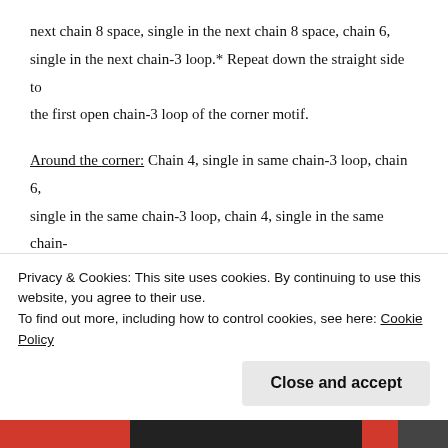next chain 8 space, single in the next chain 8 space, chain 6, single in the next chain-3 loop.* Repeat down the straight side to the first open chain-3 loop of the corner motif.
Around the corner: Chain 4, single in same chain-3 loop, chain 6, single in the same chain-3 loop, chain 4, single in the same chain-3 loop. Chain 6, single in the next chain 8 space, 13 triple in the next chain 8 space, single in the next chain 8 space. Chain 6, single in the next chain-3 loop, chain 4, single in same chain-3 loop, chain 6, single in the same chain-3 loop, chain 4, single in the same chain-3 loop. Chain 6, single in the next chain 8 space,
Privacy & Cookies: This site uses cookies. By continuing to use this website, you agree to their use.
To find out more, including how to control cookies, see here: Cookie Policy
Close and accept